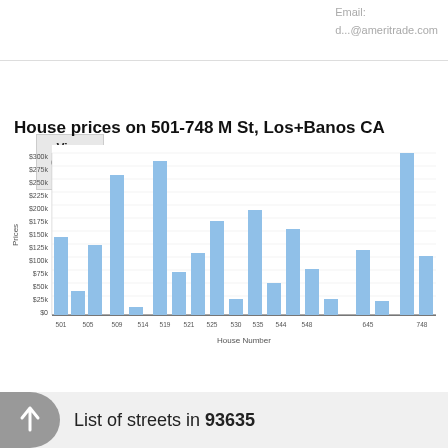Email:
d...@ameritrade.com
View details »
House prices on 501-748 M St, Los+Banos CA
[Figure (bar-chart): House prices on 501-748 M St, Los+Banos CA]
List of streets in 93635